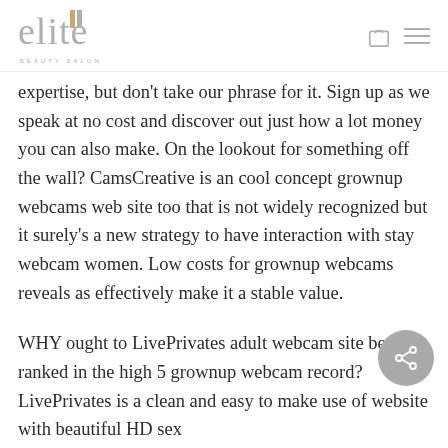elite beauty salon
expertise, but don't take our phrase for it. Sign up as we speak at no cost and discover out just how a lot money you can also make. On the lookout for something off the wall? CamsCreative is an cool concept grownup webcams web site too that is not widely recognized but it surely's a new strategy to have interaction with stay webcam women. Low costs for grownup webcams reveals as effectively make it a stable value.
WHY ought to LivePrivates adult webcam site be ranked in the high 5 grownup webcam record? LivePrivates is a clean and easy to make use of website with beautiful HD sex